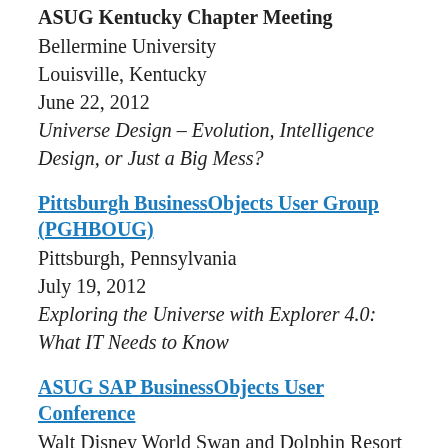ASUG Kentucky Chapter Meeting
Bellermine University
Louisville, Kentucky
June 22, 2012
Universe Design – Evolution, Intelligence Design, or Just a Big Mess?
Pittsburgh BusinessObjects User Group (PGHBOUG)
Pittsburgh, Pennsylvania
July 19, 2012
Exploring the Universe with Explorer 4.0: What IT Needs to Know
ASUG SAP BusinessObjects User Conference
Walt Disney World Swan and Dolphin Resort
Orlando, Florida